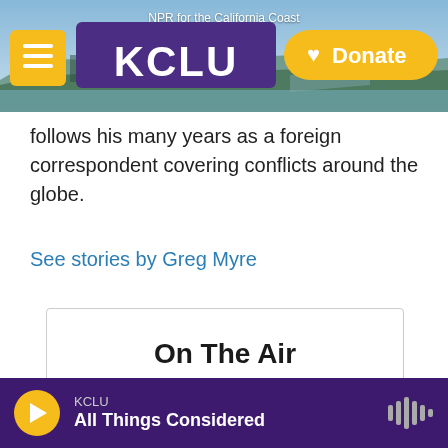[Figure (screenshot): KCLU NPR for the California Coast website header with logo, hamburger menu, coastal background photo, and Donate button]
follows his many years as a foreign correspondent covering conflicts around the globe.
See stories by Greg Myre
On The Air
KCLU
All Things Considered